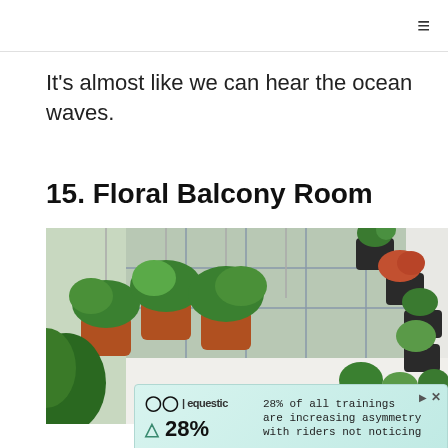≡
It's almost like we can hear the ocean waves.
15. Floral Balcony Room
[Figure (photo): A lush balcony covered in hanging plants in terracotta pots and wall-mounted black fabric planters filled with green plants, bright outdoor setting.]
[Figure (infographic): Advertisement for Equestic showing logo, triangle warning icon, '28%', and text '28% of all trainings are increasing asymmetry with riders not noticing'.]